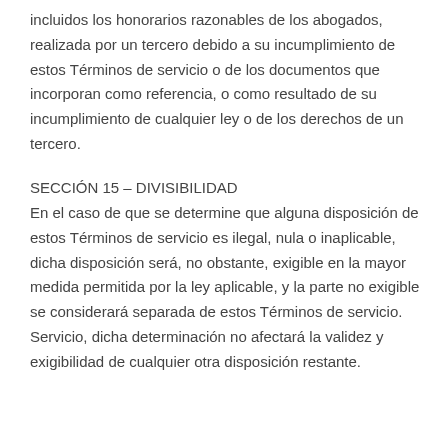incluidos los honorarios razonables de los abogados, realizada por un tercero debido a su incumplimiento de estos Términos de servicio o de los documentos que incorporan como referencia, o como resultado de su incumplimiento de cualquier ley o de los derechos de un tercero.
SECCIÓN 15 – DIVISIBILIDAD
En el caso de que se determine que alguna disposición de estos Términos de servicio es ilegal, nula o inaplicable, dicha disposición será, no obstante, exigible en la mayor medida permitida por la ley aplicable, y la parte no exigible se considerará separada de estos Términos de servicio. Servicio, dicha determinación no afectará la validez y exigibilidad de cualquier otra disposición restante.